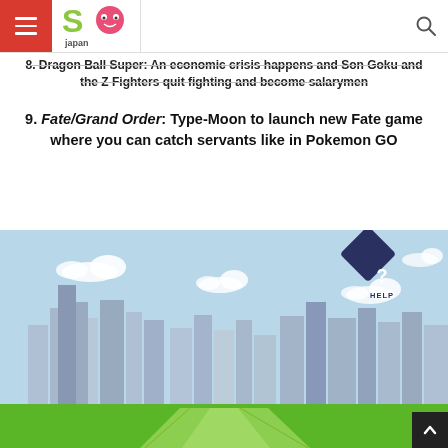SO Japan
8. Dragon Ball Super: An economic crisis happens and Son Goku and the Z Fighters quit fighting and become salarymen
9. Fate/Grand Order: Type-Moon to launch new Fate game where you can catch servants like in Pokemon GO
[Figure (illustration): Illustrated city skyline scene with light blue sky, white clouds, grey building silhouettes, green grass and paths in the foreground, and a dark blue diamond-shaped HELP button icon in the upper right corner.]